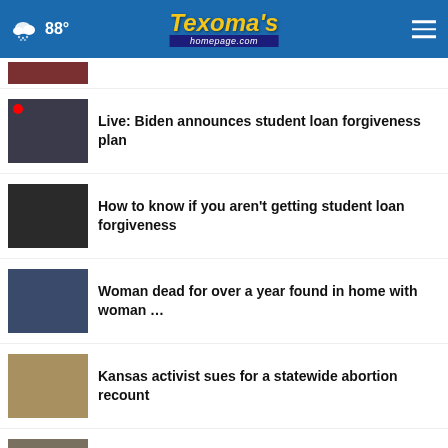Texoma's homepage.com — 88°
Live: Biden announces student loan forgiveness plan
How to know if you aren't getting student loan forgiveness
Woman dead for over a year found in home with woman …
Kansas activist sues for a statewide abortion recount
Victim identified in fatal Wichita Valley plane crash
905 dead since …
[Figure (screenshot): SHE CAN STEM advertisement banner overlay]